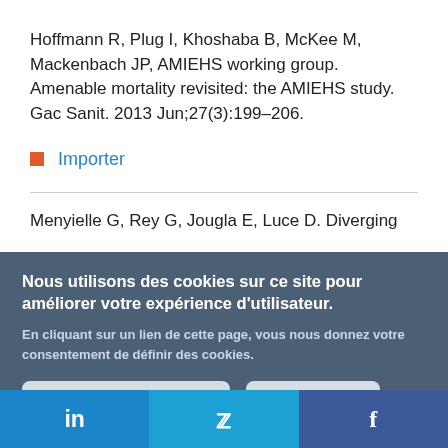Hoffmann R, Plug I, Khoshaba B, McKee M, Mackenbach JP, AMIEHS working group. Amenable mortality revisited: the AMIEHS study. Gac Sanit. 2013 Jun;27(3):199–206.
Importer
Menyielle G, Rey G, Jougla E, Luce D. Diverging...
Nous utilisons des cookies sur ce site pour améliorer votre expérience d'utilisateur.
En cliquant sur un lien de cette page, vous nous donnez votre consentement de définir des cookies.